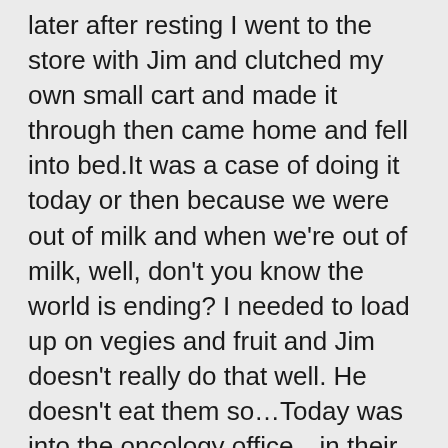later after resting I went to the store with Jim and clutched my own small cart and made it through then came home and fell into bed.It was a case of doing it today or then because we were out of milk and when we're out of milk, well, don't you know the world is ending? I needed to load up on vegies and fruit and Jim doesn't really do that well. He doesn't eat them so…Today was into the oncology office…in their fabulous new digs for my IV Zometa for strengthening bones. Waited too long in chair before got to lie down. A bit chaotic in new place and that's understandable but it sure is beautiful with fab views. Now resting. Methotrexate day so, well, you